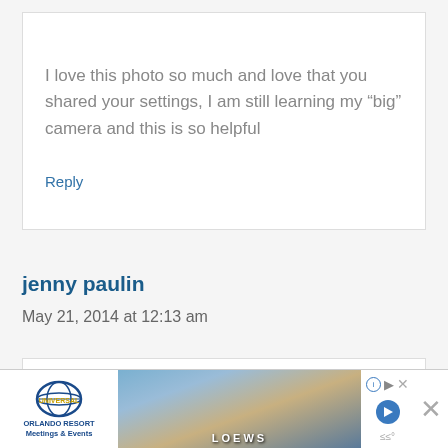I love this photo so much and love that you shared your settings, I am still learning my “big” camera and this is so helpful
Reply
jenny paulin
May 21, 2014 at 12:13 am
beautiful photo and nice to see it taken from his
[Figure (screenshot): Advertisement banner for Universal Orlando Resort Meetings & Events featuring a Loews hotel photo]